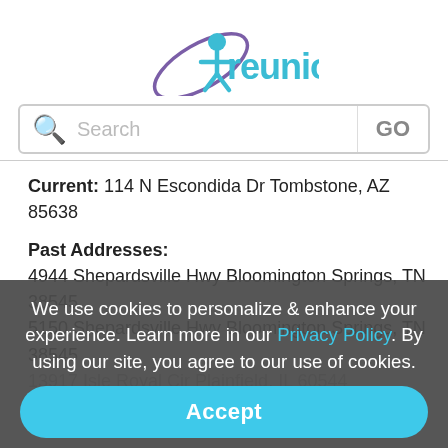[Figure (logo): reunion.com logo with stylized figure and orbit graphic, teal and purple colors]
Search GO
Current: 114 N Escondida Dr Tombstone, AZ 85638
Past Addresses:
4944 Shepardsville Hwy Bloomington Springs, TN 38545
5150 Shepardsville Hwy Bloomington Springs, TN 38545
13917 Isle Royal Cir Plainfield, IL 60544
We use cookies to personalize & enhance your experience. Learn more in our Privacy Policy. By using our site, you agree to our use of cookies.
Accept